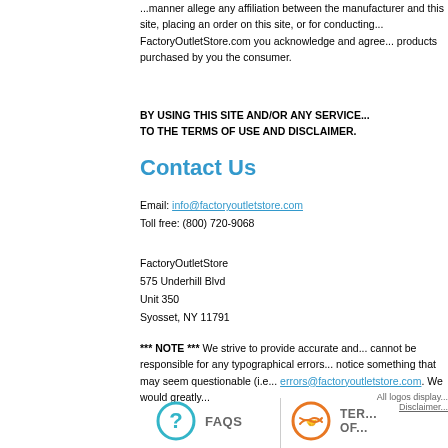...manner allege any affiliation between the manufacturer and this site, placing an order on this site, or for conducting... FactoryOutletStore.com you acknowledge and ag... products purchased by you the consumer.
BY USING THIS SITE AND/OR ANY SERVICE... TO THE TERMS OF USE AND DISCLAIMER.
Contact Us
Email: info@factoryoutletstore.com
Toll free: (800) 720-9068
FactoryOutletStore
575 Underhill Blvd
Unit 350
Syosset, NY 11791
*** NOTE *** We strive to provide accurate and... cannot be responsible for any typographical errors... notice something that may seem questionable (i.e... errors@factoryoutletstore.com. We would greatly...
All logos display...
Disclaimer...
FAQS
TERMS OF...